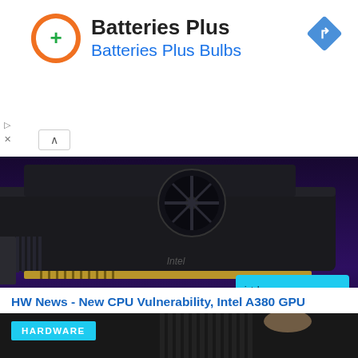[Figure (infographic): Batteries Plus ad banner with orange circle logo with green plus sign, text 'Batteries Plus' in bold black and 'Batteries Plus Bulbs' in blue, blue diamond navigation icon top right, collapse button, and side controls]
[Figure (photo): Intel Arc A380 GPU graphics card on dark purple/indigo background with cyan/blue Intel ARC A380 badge logo on the right side]
HW News - New CPU Vulnerability, Intel A380 GPU Launches, AMD Ryzen 7000 Release Date
June 23, 2022
[Figure (photo): Hardware section image showing person handling dark PC hardware component with HARDWARE label badge overlay in cyan]